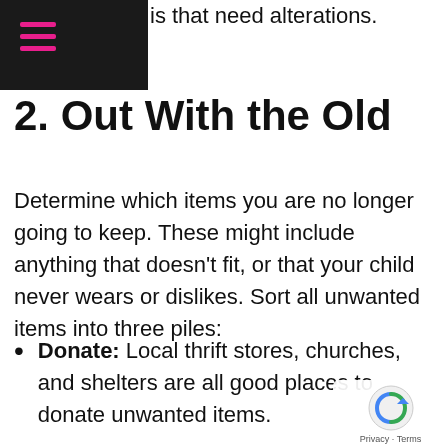is that need alterations.
2. Out With the Old
Determine which items you are no longer going to keep. These might include anything that doesn't fit, or that your child never wears or dislikes. Sort all unwanted items into three piles:
Donate: Local thrift stores, churches, and shelters are all good places to donate unwanted items.
Sell: Find a local consignment store that specializes in children's clothing, or try one of the online consignment sites. I have personally used ThredUp, and it's so simple. They send you a postage paid